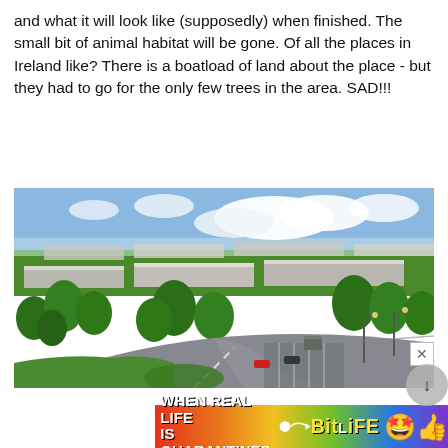and what it will look like (supposedly) when finished. The small bit of animal habitat will be gone. Of all the places in Ireland like? There is a boatload of land about the place - but they had to go for the only few trees in the area. SAD!!!
[Figure (photo): Aerial rendering of a large industrial or data center campus surrounded by trees and green lawns, with a winding road and parking area in the foreground, multiple long white-roofed buildings visible, and a blue sky with clouds in the background.]
[Figure (screenshot): Advertisement banner for BitLife mobile game with rainbow gradient background. Text reads 'WHEN REAL LIFE IS QUARANTINED' with an arrow pointing to the BitLife logo and emoji icons of a star-eyes face and thumbs-up face wearing a mask. Close button and navigation icons visible.]